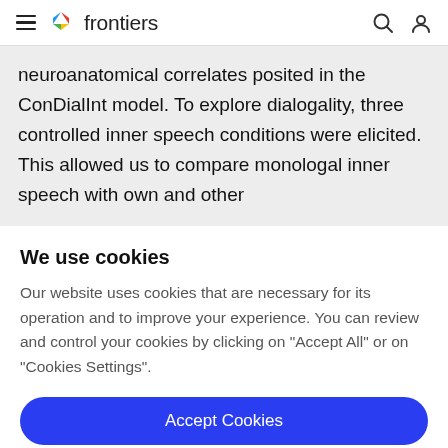frontiers
neuroanatomical correlates posited in the ConDialInt model. To explore dialogality, three controlled inner speech conditions were elicited. This allowed us to compare monologal inner speech with own and other
We use cookies
Our website uses cookies that are necessary for its operation and to improve your experience. You can review and control your cookies by clicking on "Accept All" or on "Cookies Settings".
Accept Cookies
Cookies Settings